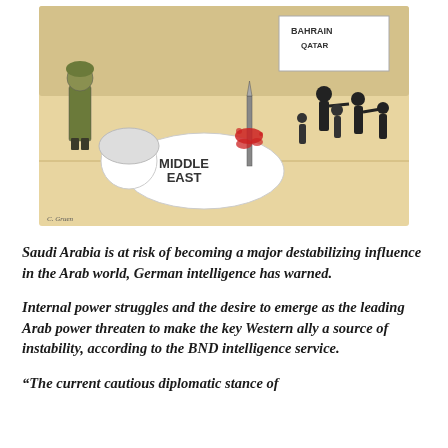[Figure (illustration): Political cartoon depicting a figure dressed in white robes labeled 'MIDDLE EAST' lying stabbed on the ground with blood, while armed black-clad figures run in the background. A flag reads 'BAHRAIN QATAR'. A soldier figure stands to the left.]
Saudi Arabia is at risk of becoming a major destabilizing influence in the Arab world, German intelligence has warned.
Internal power struggles and the desire to emerge as the leading Arab power threaten to make the key Western ally a source of instability, according to the BND intelligence service.
“The current cautious diplomatic stance of